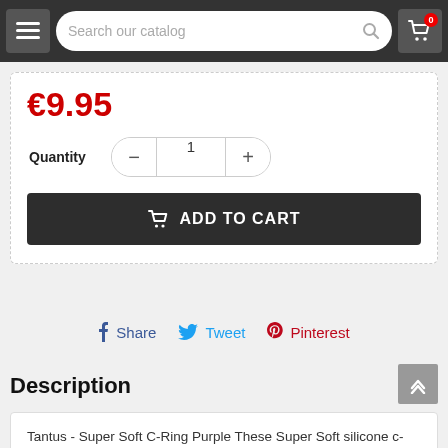Search our catalog
€9.95
Quantity  −  1  +
ADD TO CART
Share  Tweet  Pinterest
Description
Tantus - Super Soft C-Ring Purple These Super Soft silicone c-rings from Tantus are broad for comfort and safety. A c-ring holds the